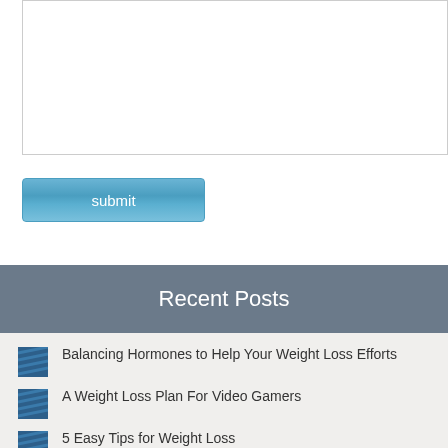[Figure (screenshot): Text area input box, partially visible at top of page]
submit
Recent Posts
Balancing Hormones to Help Your Weight Loss Efforts
A Weight Loss Plan For Video Gamers
5 Easy Tips for Weight Loss
6 Ways Going Outside Can Help You Lose Weight